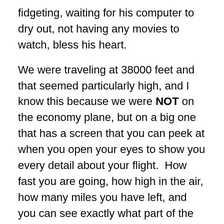fidgeting, waiting for his computer to dry out, not having any movies to watch, bless his heart.
We were traveling at 38000 feet and that seemed particularly high, and I know this because we were NOT on the economy plane, but on a big one that has a screen that you can peek at when you open your eyes to show you every detail about your flight.  How fast you are going, how high in the air, how many miles you have left, and you can see exactly what part of the country you are flying over.  I peeked at this info maybe twice during the first four hours, and then by the last hour, I got my updates every 5 minutes.  Yes, there was turbulence.  Yes, it did not seem light to me.  Yes, that fasten your seat belt sign was lit for most of the flight.  Yes, we were closing in on San Francisco, and YES YES YES I was more than ready to be done with all of this.